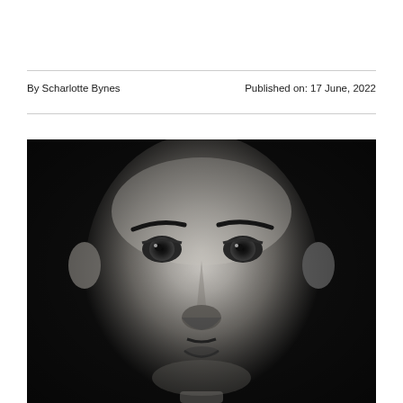By Scharlotte Bynes
Published on: 17 June, 2022
[Figure (photo): Black and white close-up portrait photograph of a man looking directly at the camera with an intense expression]